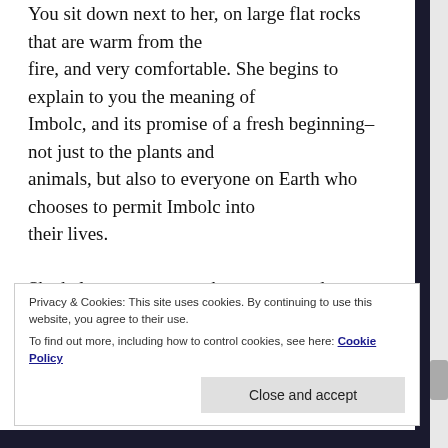You sit down next to her, on large flat rocks that are warm from the fire, and very comfortable. She begins to explain to you the meaning of Imbolc, and its promise of a fresh beginning–not just to the plants and animals, but also to everyone on Earth who chooses to permit Imbolc into their lives.

She helps you to remember your past dreams, especially the ones from your childhood which began, "When I grow up..." And
Privacy & Cookies: This site uses cookies. By continuing to use this website, you agree to their use.
To find out more, including how to control cookies, see here: Cookie Policy